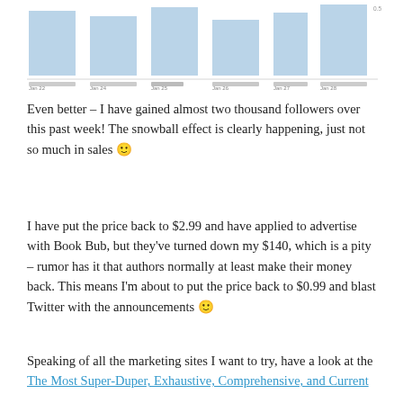[Figure (bar-chart): A bar chart showing data over a weekly period with blue bars and small axis labels at the bottom (Jan 22 through Jan 28). A partial numeric label appears at top right (~0.5 or similar).]
Even better – I have gained almost two thousand followers over this past week! The snowball effect is clearly happening, just not so much in sales 🙂
I have put the price back to $2.99 and have applied to advertise with Book Bub, but they've turned down my $140, which is a pity – rumor has it that authors normally at least make their money back. This means I'm about to put the price back to $0.99 and blast Twitter with the announcements 🙂
Speaking of all the marketing sites I want to try, have a look at the The Most Super-Duper, Exhaustive, Comprehensive, and Current